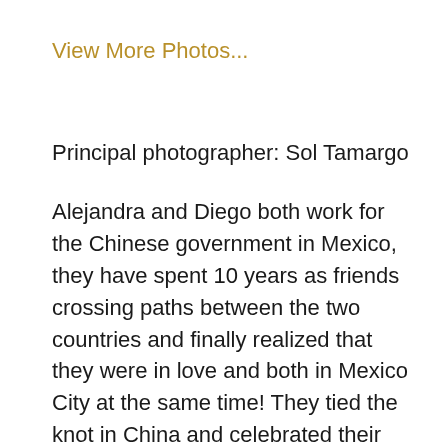View More Photos...
Principal photographer: Sol Tamargo
Alejandra and Diego both work for the Chinese government in Mexico, they have spent 10 years as friends crossing paths between the two countries and finally realized that they were in love and both in Mexico City at the same time! They tied the knot in China and celebrated their return to their Mexican life with a trash the dress photography session on the beach of Tulum at Papaya Playa with Sol. It was a day full of fun for all, their genuine